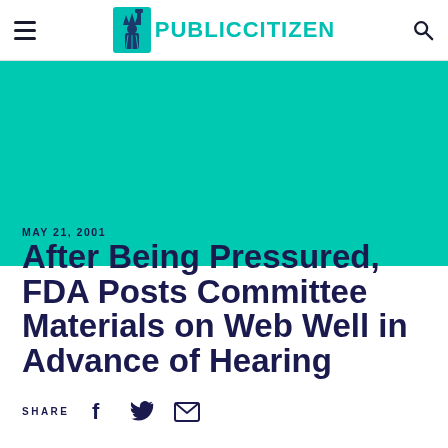PUBLIC CITIZEN
[Figure (logo): Public Citizen logo with Statue of Liberty icon and teal PUBLICCITIZEN text]
MAY 21, 2001
After Being Pressured, FDA Posts Committee Materials on Web Well in Advance of Hearing
SHARE